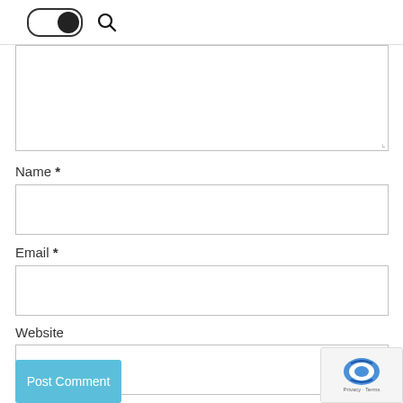[Figure (screenshot): Dark mode toggle switch and search icon in top navigation bar]
[Figure (screenshot): Text area input box (comment field, partially visible, with resize handle)]
Name *
[Figure (screenshot): Name input text field]
Email *
[Figure (screenshot): Email input text field]
Website
[Figure (screenshot): Website input text field]
[Figure (screenshot): Post Comment button (light blue)]
[Figure (screenshot): reCAPTCHA badge with logo and Privacy/Terms links]